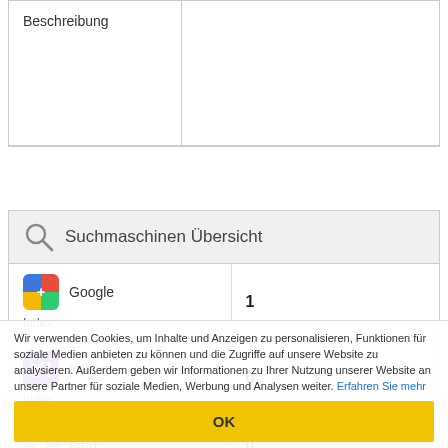| Beschreibung |  |
| --- | --- |
|  |  |
Suchmaschinen Übersicht
| Google Index | 1 |
| --- | --- |
| Yahoo Index | 0 |
| Bing | 0 |
Wir verwenden Cookies, um Inhalte und Anzeigen zu personalisieren, Funktionen für soziale Medien anbieten zu können und die Zugriffe auf unsere Website zu analysieren. Außerdem geben wir Informationen zu Ihrer Nutzung unserer Website an unsere Partner für soziale Medien, Werbung und Analysen weiter. Erfahren Sie mehr
OK